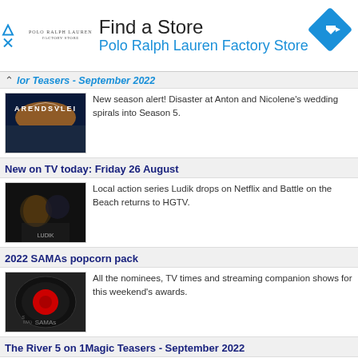[Figure (advertisement): Find a Store - Polo Ralph Lauren Factory Store banner ad with navigation arrow icon]
lor Teasers - September 2022 (partial, truncated)
New season alert! Disaster at Anton and Nicolene's wedding spirals into Season 5.
New on TV today: Friday 26 August
Local action series Ludik drops on Netflix and Battle on the Beach returns to HGTV.
2022 SAMAs popcorn pack
All the nominees, TV times and streaming companion shows for this weekend's awards.
The River 5 on 1Magic Teasers - September 2022
Lindiwe wants what is hers. And then her past...